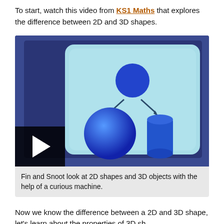To start, watch this video from KS1 Maths that explores the difference between 2D and 3D shapes.
[Figure (screenshot): Video thumbnail showing a 2D circle with arrows pointing to a 3D sphere and a 3D cylinder on a light blue rounded-rectangle screen, set against a dark blue background. A play button overlay is visible in the bottom-left corner.]
Fin and Snoot look at 2D shapes and 3D objects with the help of a curious machine.
Now we know the difference between a 2D and 3D shape, let's learn about the properties of 3D sh...